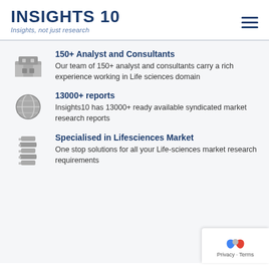INSIGHTS 10 — Insights, not just research
150+ Analyst and Consultants — Our team of 150+ analyst and consultants carry a rich experience working in Life sciences domain
13000+ reports — Insights10 has 13000+ ready available syndicated market research reports
Specialised in Lifesciences Market — One stop solutions for all your Life-sciences market research requirements
Privacy · Terms